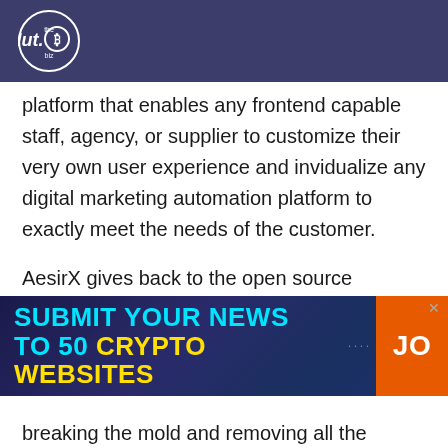the dut.B biz
platform that enables any frontend capable staff, agency, or supplier to customize their very own user experience and invidualize any digital marketing automation platform to exactly meet the needs of the customer.
AesirX gives back to the open source community on their journey to reshape the world of digital marketing and democratize
[Figure (infographic): Advertisement banner with dark blue background. Text reads 'SUBMIT YOUR NEWS TO 50 CRYPTO WEBSITES' in cyan and yellow bold uppercase letters, with dots and an orange button showing 'JO']
breaking the mold and removing all the